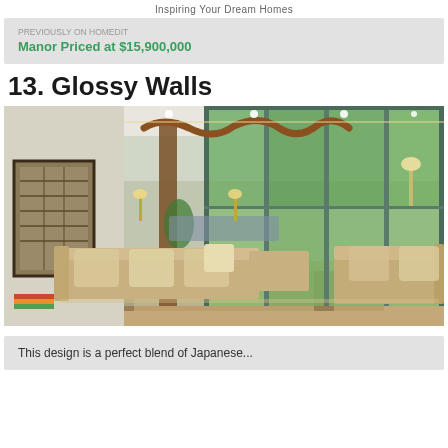Inspiring Your Dream Homes
Manor Priced at $15,900,000
13. Glossy Walls
[Figure (photo): Luxury modern living room with large floor-to-ceiling glass walls overlooking a lush green garden. Features a large beige sectional sofa, a sculptural wooden wave ceiling ornament, recessed lighting, an abstract wall art piece on the left, and outdoor lamps visible through the glass.]
This design is a perfect blend of Japanese...